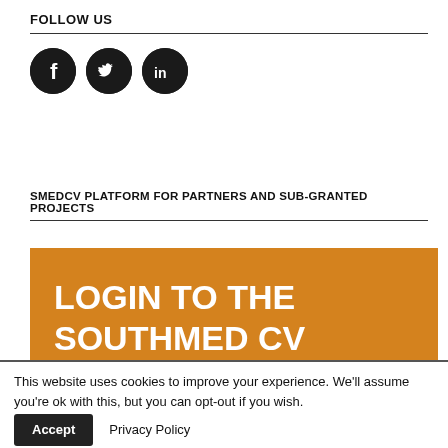FOLLOW US
[Figure (illustration): Three circular social media icons (Facebook, Twitter, LinkedIn) in black on white background]
SMEDCV PLATFORM FOR PARTNERS AND SUB-GRANTED PROJECTS
[Figure (infographic): Orange banner with white bold text reading LOGIN TO THE SOUTHMED CV PLATFORM]
This website uses cookies to improve your experience. We'll assume you're ok with this, but you can opt-out if you wish. Accept Privacy Policy